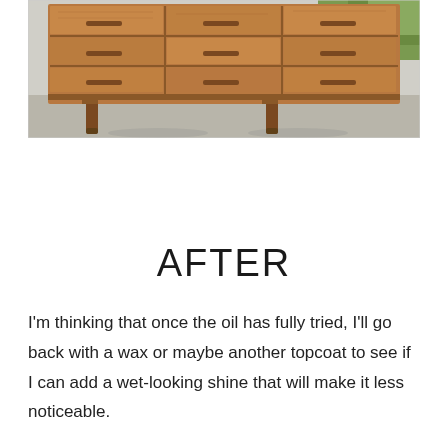[Figure (photo): Photograph of a mid-century modern wooden dresser with nine drawers arranged in a 3x3 grid, featuring carved horizontal pull handles and tapered wooden legs, photographed on a concrete surface outdoors with greenery visible in the background.]
AFTER
I'm thinking that once the oil has fully tried, I'll go back with a wax or maybe another topcoat to see if I can add a wet-looking shine that will make it less noticeable.